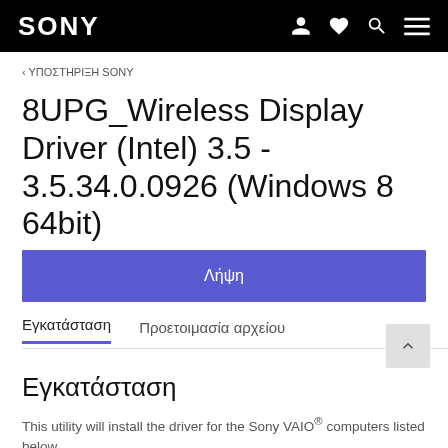SONY
‹ ΥΠΟΣΤΗΡΙΞΗ SONY
8UPG_Wireless Display Driver (Intel) 3.5 - 3.5.34.0.0926 (Windows 8 64bit)
Λήψη
Εγκατάσταση	Προετοιμασία αρχείου
Εγκατάσταση
This utility will install the driver for the Sony VAIO® computers listed below.